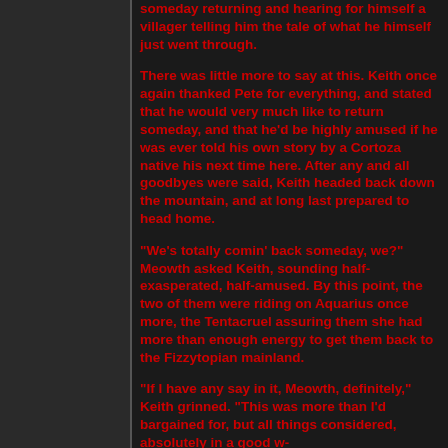someday returning and hearing for himself a villager telling him the tale of what he himself just went through.
There was little more to say at this. Keith once again thanked Pete for everything, and stated that he would very much like to return someday, and that he'd be highly amused if he was ever told his own story by a Cortoza native his next time here. After any and all goodbyes were said, Keith headed back down the mountain, and at long last prepared to head home.
"We's totally comin' back someday, we?" Meowth asked Keith, sounding half-exasperated, half-amused. By this point, the two of them were riding on Aquarius once more, the Tentacruel assuring them she had more than enough energy to get them back to the Fizzytopian mainland.
"If I have any say in it, Meowth, definitely," Keith grinned. "This was more than I'd bargained for, but all things considered, absolutely in a good w-
"Can't say I'd argue wit dat," Meow-